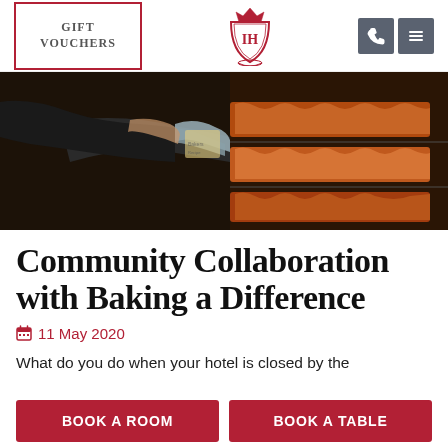GIFT VOUCHERS | [Hotel Logo] | [Phone icon] [Menu icon]
[Figure (photo): Person pulling baked goods from an oven, wearing oven mitts, with trays of baked pastries visible inside the oven]
Community Collaboration with Baking a Difference
11 May 2020
What do you do when your hotel is closed by the
BOOK A ROOM   BOOK A TABLE